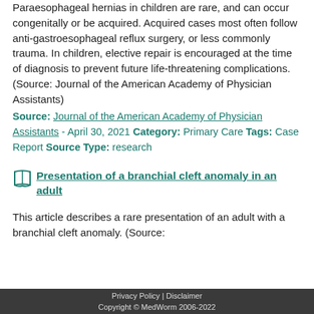Paraesophageal hernias in children are rare, and can occur congenitally or be acquired. Acquired cases most often follow anti-gastroesophageal reflux surgery, or less commonly trauma. In children, elective repair is encouraged at the time of diagnosis to prevent future life-threatening complications. (Source: Journal of the American Academy of Physician Assistants)
Source: Journal of the American Academy of Physician Assistants - April 30, 2021 Category: Primary Care Tags: Case Report Source Type: research
Presentation of a branchial cleft anomaly in an adult
This article describes a rare presentation of an adult with a branchial cleft anomaly. (Source:
Privacy Policy | Disclaimer
Copyright © MedWorm 2006-2022